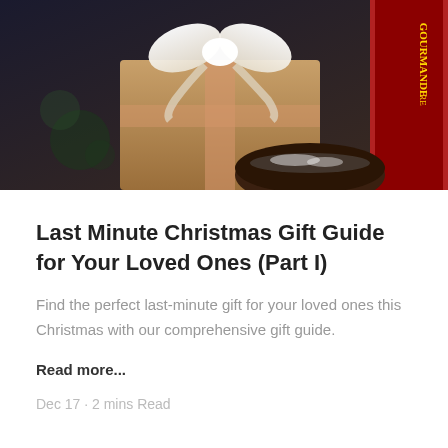[Figure (photo): A wrapped Christmas gift with a white ribbon bow, placed next to decorative items including a red-framed box and a dark bowl with powdered sugar, on a festive background.]
Last Minute Christmas Gift Guide for Your Loved Ones (Part I)
Find the perfect last-minute gift for your loved ones this Christmas with our comprehensive gift guide.
Read more...
Dec 17 · 2 mins Read